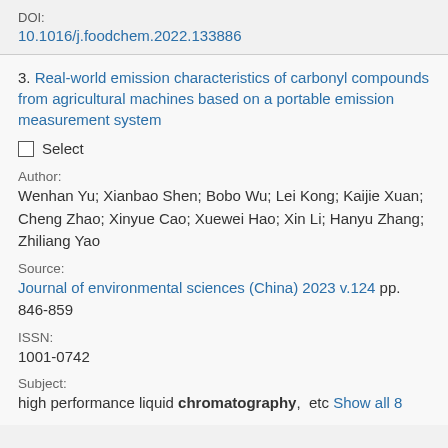DOI:
10.1016/j.foodchem.2022.133886
3. Real-world emission characteristics of carbonyl compounds from agricultural machines based on a portable emission measurement system
Select
Author:
Wenhan Yu; Xianbao Shen; Bobo Wu; Lei Kong; Kaijie Xuan; Cheng Zhao; Xinyue Cao; Xuewei Hao; Xin Li; Hanyu Zhang; Zhiliang Yao
Source:
Journal of environmental sciences (China) 2023 v.124 pp. 846-859
ISSN:
1001-0742
Subject:
high performance liquid chromatography,  etc Show all 8